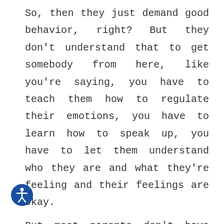So, then they just demand good behavior, right? But they don't understand that to get somebody from here, like you're saying, you have to teach them how to regulate their emotions, you have to learn how to speak up, you have to let them understand who they are and what they're feeling and their feelings are okay.
But most parents don't have that skill, so our mother is a – excuse me, your wife working with the mothers of the
[Figure (illustration): Accessibility icon: a blue circle with a white stick figure with arms outstretched (universal accessibility symbol)]